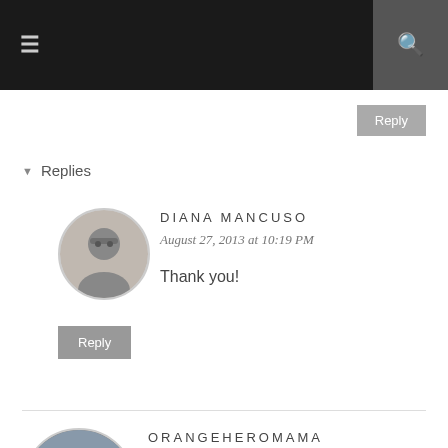≡ [hamburger menu] | [search icon]
Reply
▾ Replies
DIANA MANCUSO
August 27, 2013 at 10:19 PM
Thank you!
Reply
ORANGEHEROMAMA
August 27, 2013 at 7:56 PM
Some gorgeous pics Diana!! I absolutely love Niagara falls!
http://www.homeofohm.com/2013